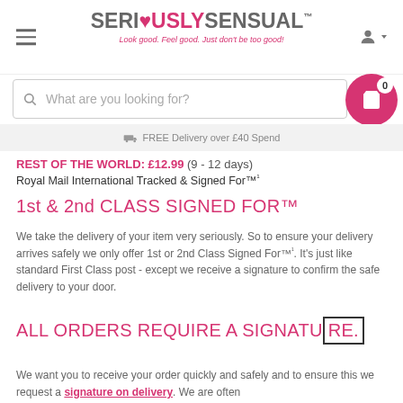SERI❤USLYSENSUAL™ — Look good. Feel good. Just don't be too good!
What are you looking for?
FREE Delivery over £40 Spend
REST OF THE WORLD: £12.99 (9 - 12 days)
Royal Mail International Tracked & Signed For™¹
1st & 2nd CLASS SIGNED FOR™
We take the delivery of your item very seriously. So to ensure your delivery arrives safely we only offer 1st or 2nd Class Signed For™¹. It's just like standard First Class post - except we receive a signature to confirm the safe delivery to your door.
ALL ORDERS REQUIRE A SIGNATURE.
We want you to receive your order quickly and safely and to ensure this we request a signature on delivery. We are often